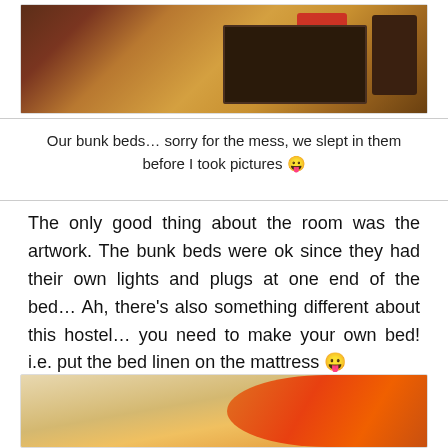[Figure (photo): Photo of bunk beds in a hostel room with wooden floor, red bedding visible, dark furniture]
Our bunk beds… sorry for the mess, we slept in them before I took pictures 😛
The only good thing about the room was the artwork. The bunk beds were ok since they had their own lights and plugs at one end of the bed… Ah, there's also something different about this hostel… you need to make your own bed! i.e. put the bed linen on the mattress 😛
[Figure (photo): Photo of colorful artwork/mural on wall of hostel room, orange and red illustration]